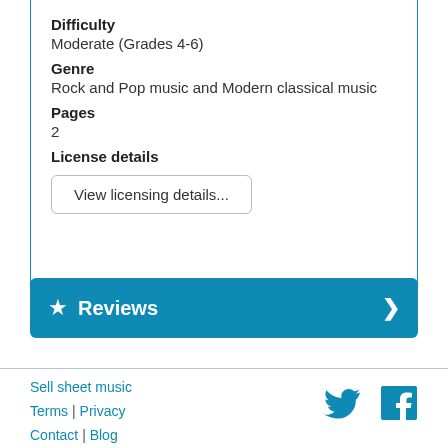Difficulty
Moderate (Grades 4-6)
Genre
Rock and Pop music and Modern classical music
Pages
2
License details
View licensing details...
Reviews
Sell sheet music | Terms | Privacy | Contact | Blog | Advertise | Help